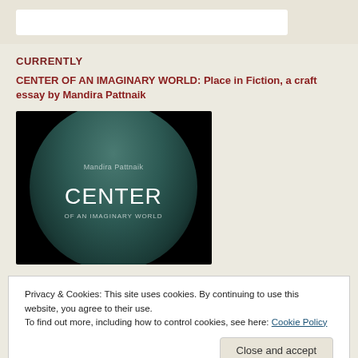CURRENTLY
CENTER OF AN IMAGINARY WORLD: Place in Fiction, a craft essay by Mandira Pattnaik
[Figure (illustration): Book cover of 'Center of an Imaginary World' by Mandira Pattnaik, featuring a dark background with a circular teal/dark green gradient circle containing the text 'Mandira Pattnaik', 'CENTER', and 'OF AN IMAGINARY WORLD']
Privacy & Cookies: This site uses cookies. By continuing to use this website, you agree to their use.
To find out more, including how to control cookies, see here: Cookie Policy
Close and accept